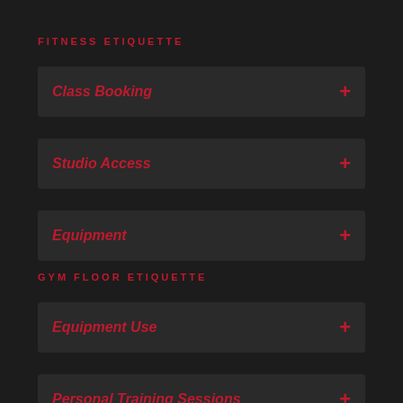FITNESS ETIQUETTE
Class Booking
Studio Access
Equipment
GYM FLOOR ETIQUETTE
Equipment Use
Personal Training Sessions